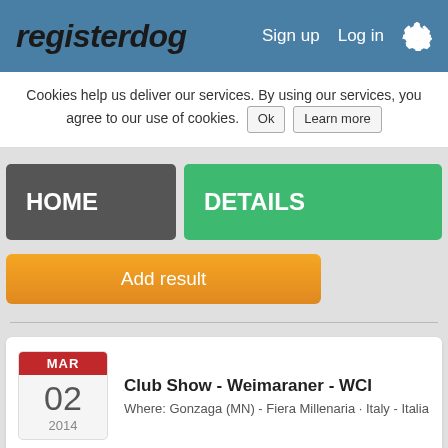registerdog  Sign up  Log in
Cookies help us deliver our services. By using our services, you agree to our use of cookies. Ok  Learn more
HOME
DETAILS
Add result
Club Show - Weimaraner - WCI
Where: Gonzaga (MN) - Fiera Millenaria · Italy - Italia
MAR 02 2014
Recent Activity